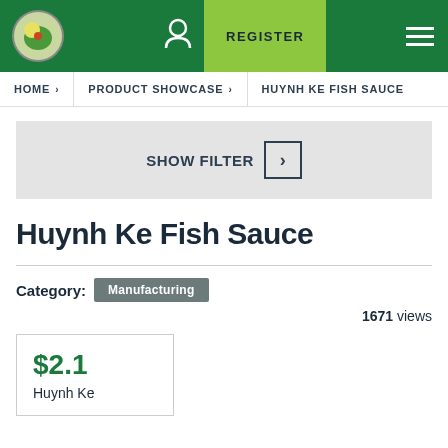REGISTER  ☰
HOME › PRODUCT SHOWCASE › HUYNH KE FISH SAUCE
SHOW FILTER ›
Huynh Ke Fish Sauce
Category: Manufacturing
1671 views
$2.1
Huynh Ke